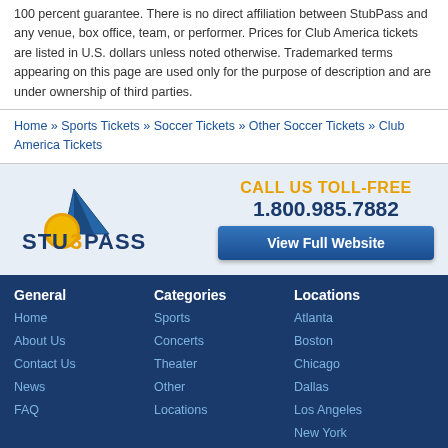100 percent guarantee. There is no direct affiliation between StubPass and any venue, box office, team, or performer. Prices for Club America tickets are listed in U.S. dollars unless noted otherwise. Trademarked terms appearing on this page are used only for the purpose of description and are under ownership of third parties.
Home » Sports Tickets » Soccer Tickets » Other Soccer Tickets » Club America Tickets
[Figure (logo): StubPass logo with shark fin icon and stylized text]
CALL US TOLL-FREE 1.800.985.7882
View Full Website
General
Home
About Us
Contact Us
News
FAQ
Categories
Sports
Concerts
Theater
Other
Locations
Locations
Atlanta
Boston
Chicago
Dallas
Los Angeles
New York
©2022 StubPass.com. All rights reserved. Use of this website signifies your agreement to the StubPass.com User Agreement and Privacy Policy.